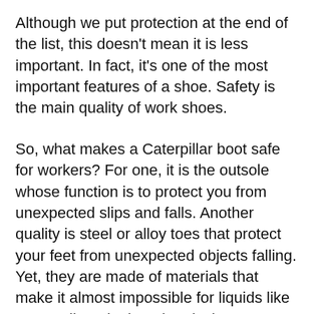Although we put protection at the end of the list, this doesn't mean it is less important. In fact, it's one of the most important features of a shoe. Safety is the main quality of work shoes.
So, what makes a Caterpillar boot safe for workers? For one, it is the outsole whose function is to protect you from unexpected slips and falls. Another quality is steel or alloy toes that protect your feet from unexpected objects falling. Yet, they are made of materials that make it almost impossible for liquids like water, oil, and other chemicals to get through the shoe and damage your feet.